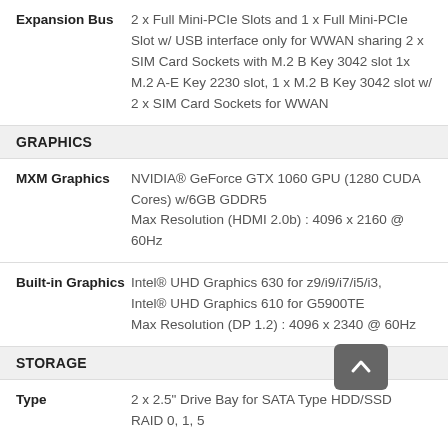| Property | Value |
| --- | --- |
| Expansion Bus | 2 x Full Mini-PCIe Slots and 1 x Full Mini-PCIe Slot w/ USB interface only for WWAN sharing 2 x SIM Card Sockets with M.2 B Key 3042 slot 1x M.2 A-E Key 2230 slot, 1 x M.2 B Key 3042 slot w/ 2 x SIM Card Sockets for WWAN |
GRAPHICS
| Property | Value |
| --- | --- |
| MXM Graphics | NVIDIA® GeForce GTX 1060 GPU (1280 CUDA Cores) w/6GB GDDR5
Max Resolution (HDMI 2.0b) : 4096 x 2160 @ 60Hz |
| Built-in Graphics | Intel® UHD Graphics 630 for z9/i9/i7/i5/i3,
Intel® UHD Graphics 610 for G5900TE
Max Resolution (DP 1.2) : 4096 x 2340 @ 60Hz |
STORAGE
| Property | Value |
| --- | --- |
| Type | 2 x 2.5" Drive Bay for SATA Type HDD/SSD
RAID 0, 1, 5 |